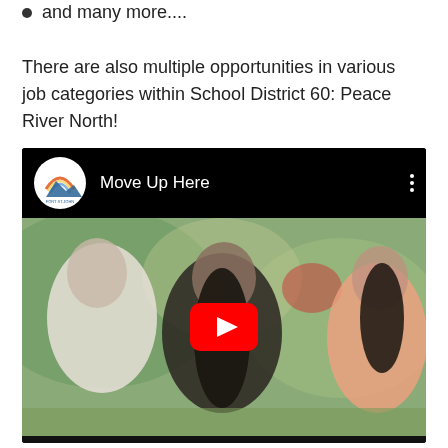and many more....
There are also multiple opportunities in various job categories within School District 60: Peace River North!
[Figure (screenshot): YouTube video embed thumbnail showing three young women outdoors with a YouTube play button overlay. The video title bar shows 'Move Up Here' with a Fort St. John logo on the left.]